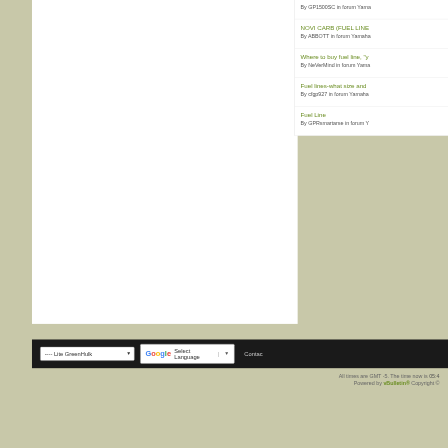By GP1500SC in forum Yama
NOVI CARB (FUEL LINE
By ABBOTT in forum Yamaha
Where to buy fuel line, "y
By NeVerMind in forum Yama
Fuel lines-what size and
By cfgp927 in forum Yamaha
Fuel Line
By GPRsmartarse in forum Y
All times are GMT -5. The time now is 05:4
Powered by vBulletin® Copyright ©